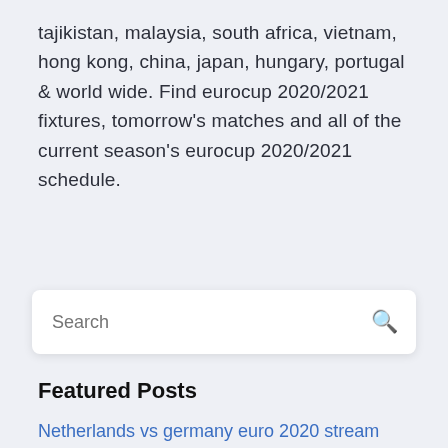tajikistan, malaysia, south africa, vietnam, hong kong, china, japan, hungary, portugal & world wide. Find eurocup 2020/2021 fixtures, tomorrow's matches and all of the current season's eurocup 2020/2021 schedule.
Search
Featured Posts
Netherlands vs germany euro 2020 stream ukraine vs. north macedonia